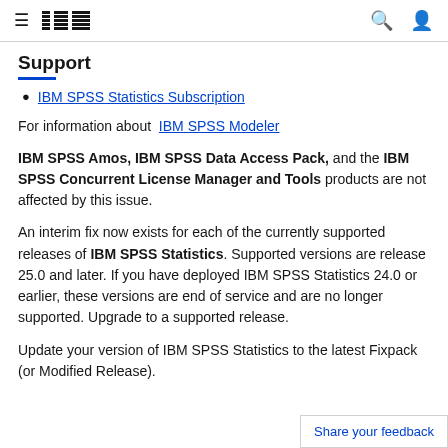IBM Support
Support
IBM SPSS Statistics Subscription
For information about  IBM SPSS Modeler
IBM SPSS Amos, IBM SPSS Data Access Pack, and the IBM SPSS Concurrent License Manager and Tools products are not affected by this issue.
An interim fix now exists for each of the currently supported releases of IBM SPSS Statistics. Supported versions are release 25.0 and later. If you have deployed IBM SPSS Statistics 24.0 or earlier, these versions are end of service and are no longer supported. Upgrade to a supported release.
Update your version of IBM SPSS Statistics to the latest Fixpack (or Modified Release).